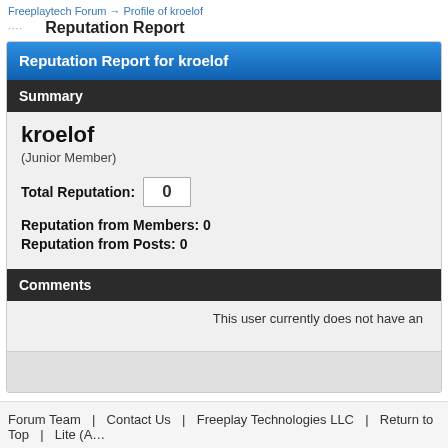Freeplaytech Forum → Profile of kroelof
Reputation Report
Reputation Report for kroelof
Summary
kroelof
(Junior Member)
Total Reputation: 0
Reputation from Members: 0
Reputation from Posts: 0
Comments
This user currently does not have an
Forum Team   Contact Us   Freeplay Technologies LLC   Return to Top   Lite (A…
Powered By MyBB, © 2002-2022 MyBB Group.